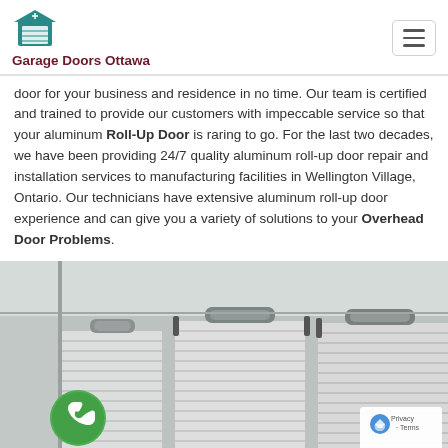Garage Doors Ottawa
door for your business and residence in no time. Our team is certified and trained to provide our customers with impeccable service so that your aluminum Roll-Up Door is raring to go. For the last two decades, we have been providing 24/7 quality aluminum roll-up door repair and installation services to manufacturing facilities in Wellington Village, Ontario. Our technicians have extensive aluminum roll-up door experience and can give you a variety of solutions to your Overhead Door Problems.
[Figure (photo): Interior photo showing multiple aluminum roll-up doors mounted on tracks in an industrial setting, with a green phone call button overlay in the bottom left and a reCAPTCHA badge in the bottom right.]